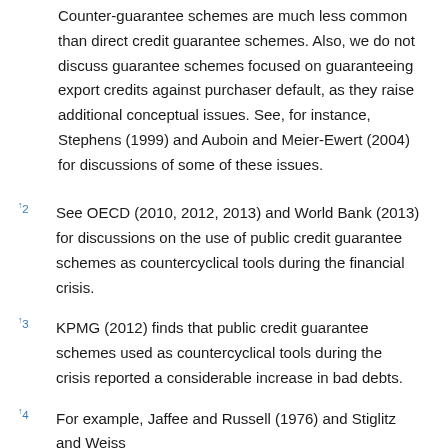Counter-guarantee schemes are much less common than direct credit guarantee schemes. Also, we do not discuss guarantee schemes focused on guaranteeing export credits against purchaser default, as they raise additional conceptual issues. See, for instance, Stephens (1999) and Auboin and Meier-Ewert (2004) for discussions of some of these issues.
↑2 See OECD (2010, 2012, 2013) and World Bank (2013) for discussions on the use of public credit guarantee schemes as countercyclical tools during the financial crisis.
↑3 KPMG (2012) finds that public credit guarantee schemes used as countercyclical tools during the crisis reported a considerable increase in bad debts.
↑4 For example, Jaffee and Russell (1976) and Stiglitz and Weiss